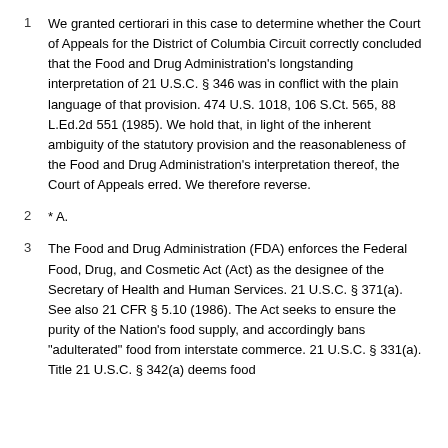We granted certiorari in this case to determine whether the Court of Appeals for the District of Columbia Circuit correctly concluded that the Food and Drug Administration's longstanding interpretation of 21 U.S.C. § 346 was in conflict with the plain language of that provision. 474 U.S. 1018, 106 S.Ct. 565, 88 L.Ed.2d 551 (1985). We hold that, in light of the inherent ambiguity of the statutory provision and the reasonableness of the Food and Drug Administration's interpretation thereof, the Court of Appeals erred. We therefore reverse.
* A.
The Food and Drug Administration (FDA) enforces the Federal Food, Drug, and Cosmetic Act (Act) as the designee of the Secretary of Health and Human Services. 21 U.S.C. § 371(a). See also 21 CFR § 5.10 (1986). The Act seeks to ensure the purity of the Nation's food supply, and accordingly bans "adulterated" food from interstate commerce. 21 U.S.C. § 331(a). Title 21 U.S.C. § 342(a) deems food